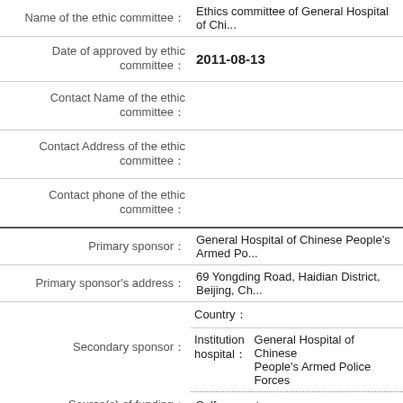| Field | Value |
| --- | --- |
| Name of the ethic committee： | Ethics committee of General Hospital of Chi... |
| Date of approved by ethic committee： | 2011-08-13 |
| Contact Name of the ethic committee： |  |
| Contact Address of the ethic committee： |  |
| Contact phone of the ethic committee： |  |
| Primary sponsor： | General Hospital of Chinese People's Armed Po... |
| Primary sponsor's address： | 69 Yongding Road, Haidian District, Beijing, Ch... |
| Secondary sponsor： | Country：
Institution hospital：  General Hospital of Chinese People's Armed Police Forces |
| Source(s) of funding： | Self-support |
| Target disease： | cirrhosis |
| Target disease code： |  |
| Study type： | Observational study |